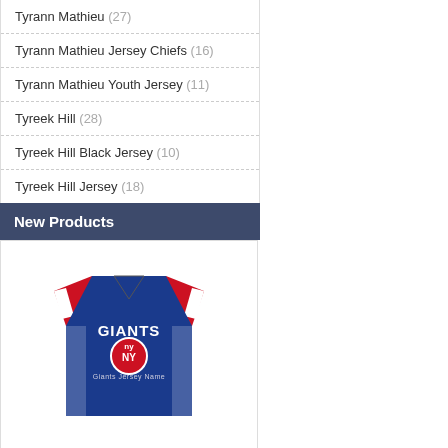Tyrann Mathieu (27)
Tyrann Mathieu Jersey Chiefs (16)
Tyrann Mathieu Youth Jersey (11)
Tyreek Hill (28)
Tyreek Hill Black Jersey (10)
Tyreek Hill Jersey (18)
New Products
[Figure (photo): New York Giants blue football jersey with red and white sleeves, GIANTS NY logo on chest]
new york giants jersey
£54.00  £30.00
Save: 44% off
Sold: